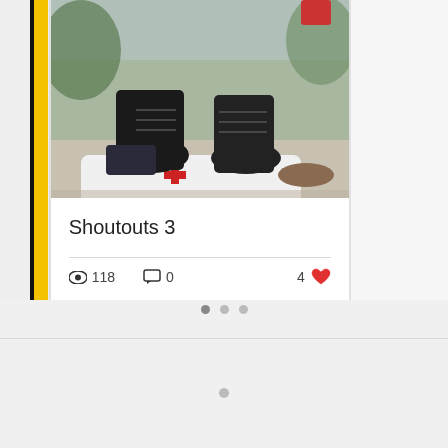[Figure (photo): Photo of boots/shoes standing on a person lying on the ground, outdoor scene. Card format with partial card visible on left and right edges.]
Shoutouts 3
👁 118   💬 0   ❤ 4